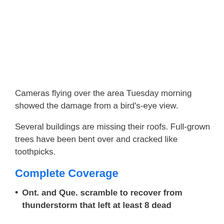Cameras flying over the area Tuesday morning showed the damage from a bird's-eye view.
Several buildings are missing their roofs. Full-grown trees have been bent over and cracked like toothpicks.
Complete Coverage
Ont. and Que. scramble to recover from thunderstorm that left at least 8 dead